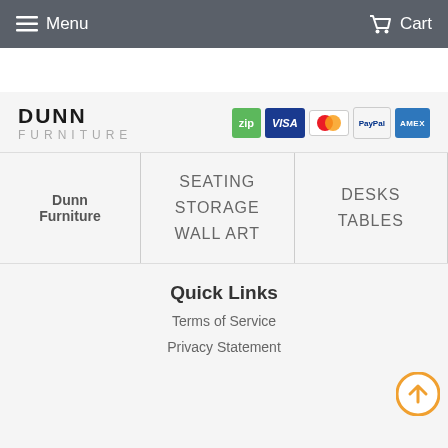Menu  Cart
[Figure (logo): Dunn Furniture logo with payment icons: zip, VISA, Mastercard, PayPal, American Express]
Dunn Furniture
SEATING
STORAGE
WALL ART
DESKS
TABLES
Quick Links
Terms of Service
Privacy Statement